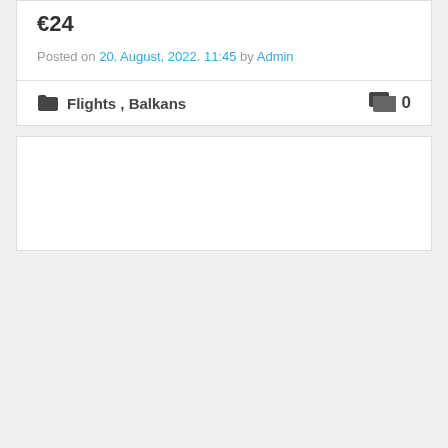€24
Posted on 20. August, 2022. 11:45 by Admin
Flights , Balkans  0